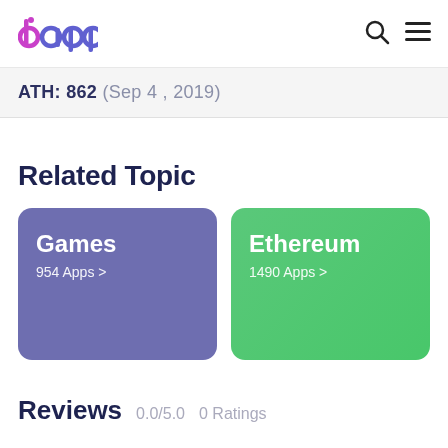dapp
ATH: 862 (Sep 4, 2019)
Related Topic
Games
954 Apps >
Ethereum
1490 Apps >
Reviews
0.0/5.0   0 Ratings